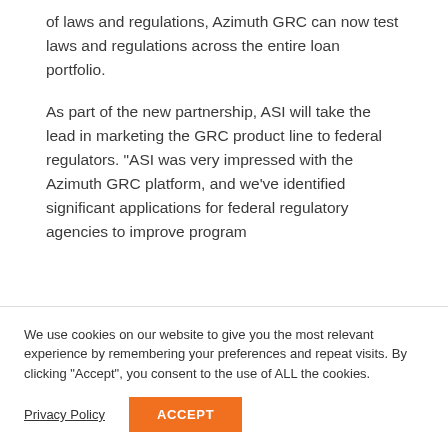of laws and regulations, Azimuth GRC can now test laws and regulations across the entire loan portfolio.
As part of the new partnership, ASI will take the lead in marketing the GRC product line to federal regulators. “ASI was very impressed with the Azimuth GRC platform, and we’ve identified significant applications for federal regulatory agencies to improve program
We use cookies on our website to give you the most relevant experience by remembering your preferences and repeat visits. By clicking “Accept”, you consent to the use of ALL the cookies.
Privacy Policy
ACCEPT